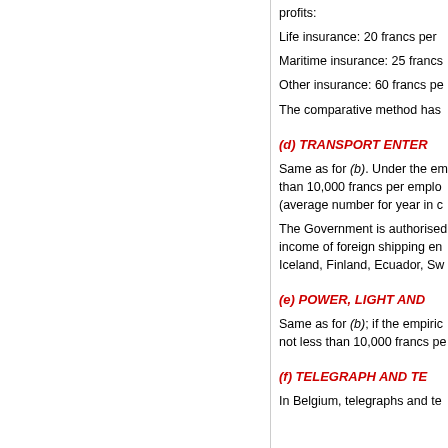profits:
Life insurance: 20 francs per
Maritime insurance: 25 francs
Other insurance: 60 francs pe
The comparative method has
(d) TRANSPORT ENTER
Same as for (b). Under the em than 10,000 francs per emplo (average number for year in c
The Government is authorised income of foreign shipping en Iceland, Finland, Ecuador, Sw
(e) POWER, LIGHT AND
Same as for (b); if the empiric not less than 10,000 francs pe
(f) TELEGRAPH AND TE
In Belgium, telegraphs and te